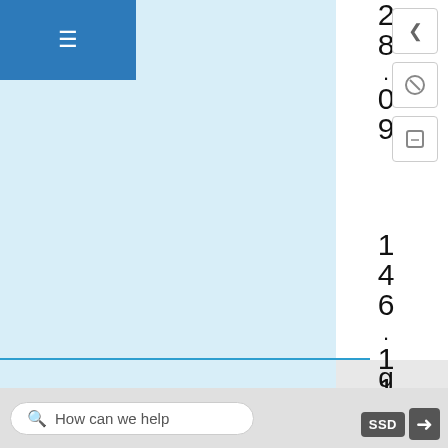[Figure (screenshot): Mobile/web app UI screenshot showing a partially visible table or list with vertically rendered numbers '28.09' and '146.11', a blue sidebar panel, navigation hamburger menu, search bar at bottom reading 'How can we help', and SSD/exit buttons. Right side has collapse and annotation tool buttons.]
28.09
146.11
gl h
How can we help
SSD